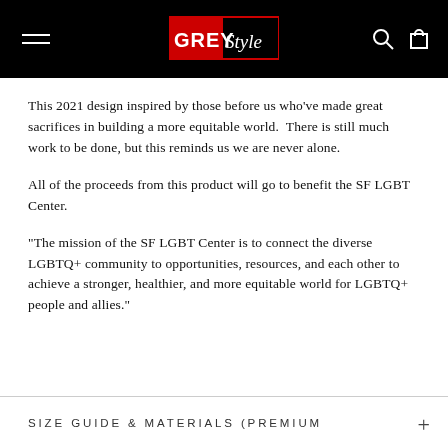GREY Style
This 2021 design inspired by those before us who've made great sacrifices in building a more equitable world.  There is still much work to be done, but this reminds us we are never alone.
All of the proceeds from this product will go to benefit the SF LGBT Center.
“The mission of the SF LGBT Center is to connect the diverse LGBTQ+ community to opportunities, resources, and each other to achieve a stronger, healthier, and more equitable world for LGBTQ+ people and allies.”
SIZE GUIDE & MATERIALS (PREMIUM